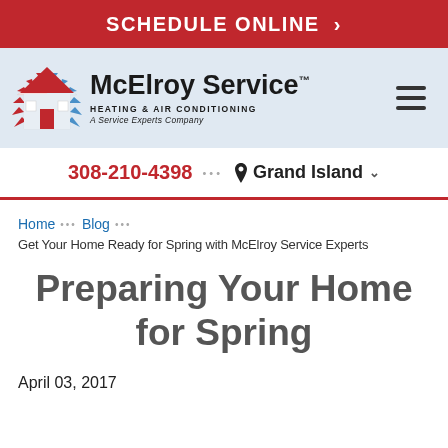SCHEDULE ONLINE >
[Figure (logo): McElroy Service Heating & Air Conditioning - A Service Experts Company logo with flame/snowflake house icon]
308-210-4398 ••• Grand Island
Home ••• Blog ••• Get Your Home Ready for Spring with McElroy Service Experts
Preparing Your Home for Spring
April 03, 2017